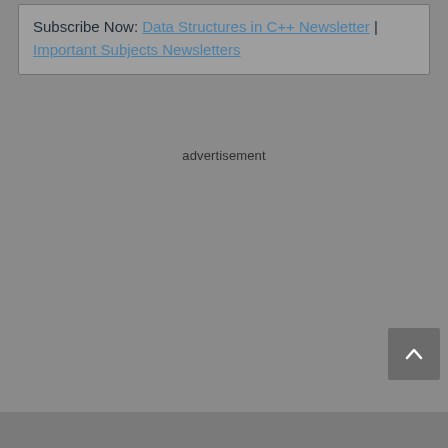Subscribe Now: Data Structures in C++ Newsletter | Important Subjects Newsletters
advertisement